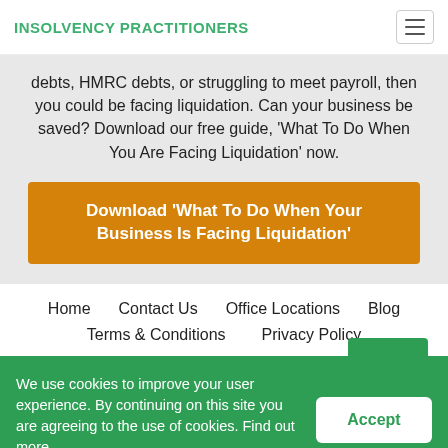INSOLVENCY PRACTITIONERS
debts, HMRC debts, or struggling to meet payroll, then you could be facing liquidation. Can your business be saved? Download our free guide, 'What To Do When You Are Facing Liquidation' now.
Download 'What To Do When Your Business Is Facing Liquidation'
Home   Contact Us   Office Locations   Blog   Terms & Conditions   Privacy Policy
We use cookies to improve your user experience. By continuing on this site you are agreeing to the use of cookies. Find out more.